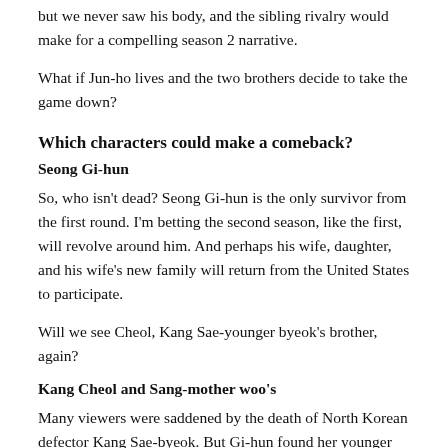but we never saw his body, and the sibling rivalry would make for a compelling season 2 narrative.
What if Jun-ho lives and the two brothers decide to take the game down?
Which characters could make a comeback?
Seong Gi-hun
So, who isn't dead? Seong Gi-hun is the only survivor from the first round. I'm betting the second season, like the first, will revolve around him. And perhaps his wife, daughter, and his wife's new family will return from the United States to participate.
Will we see Cheol, Kang Sae-younger byeok's brother, again?
Kang Cheol and Sang-mother woo's
Many viewers were saddened by the death of North Korean defector Kang Sae-byeok. But Gi-hun found her younger